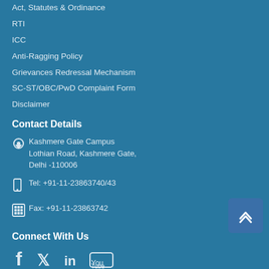Act, Statutes & Ordinance
RTI
ICC
Anti-Ragging Policy
Grievances Redressal Mechanism
SC-ST/OBC/PwD Complaint Form
Disclaimer
Contact Details
Kashmere Gate Campus
Lothian Road, Kashmere Gate,
Delhi -110006
Tel: +91-11-23863740/43
Fax: +91-11-23863742
Connect With Us
[Figure (infographic): Social media icons: Facebook, Twitter, LinkedIn, YouTube]
A+ A A-